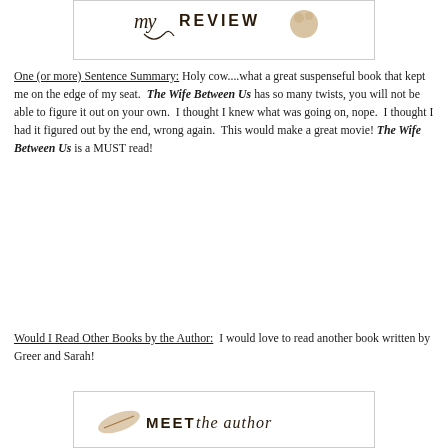[Figure (illustration): Decorative banner image with cursive script text 'my REVIEW' and a small decorative element, inside a bordered rectangle]
One (or more) Sentence Summary: Holy cow....what a great suspenseful book that kept me on the edge of my seat.  The Wife Between Us has so many twists, you will not be able to figure it out on your own.  I thought I knew what was going on, nope.  I thought I had it figured out by the end, wrong again.  This would make a great movie! The Wife Between Us is a MUST read!
Would I Read Other Books by the Author:  I would love to read another book written by Greer and Sarah!
[Figure (illustration): Decorative banner image with text 'MEET the author' in mixed serif/script fonts with a small decorative feather/quill element, inside a bordered rectangle]